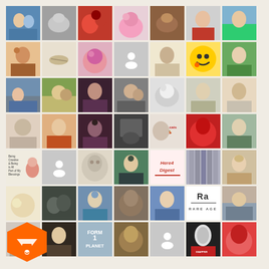[Figure (photo): A 7x7 grid of social media profile photos and avatars, including people, animals, flowers, emoji, logos, and placeholder icons. Bottom-left corner has an orange shield/lock logo.]